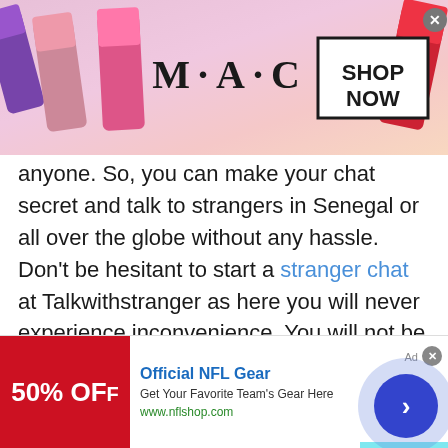[Figure (photo): MAC cosmetics advertisement banner showing lipsticks in purple, pink, and red colors with MAC logo and SHOP NOW button]
anyone. So, you can make your chat secret and talk to strangers in Senegal or all over the globe without any hassle. Don't be hesitant to start a stranger chat at Talkwithstranger as here you will never experience inconvenience. You will not be bullied or harassed by anyone.
TWS strict chat rules allow users to make their stranger chat safe from bad users. This is all because TWS strictly prohibits adult or inappropriate content. So are you ready to start a
[Figure (other): Official NFL Gear advertisement banner with 50% OFF red image, title, description and nflshop.com URL with navigation arrow button]